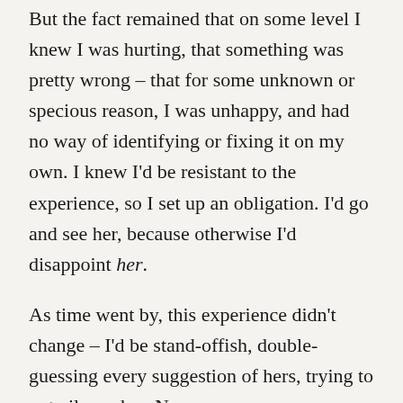But the fact remained that on some level I knew I was hurting, that something was pretty wrong – that for some unknown or specious reason, I was unhappy, and had no way of identifying or fixing it on my own. I knew I'd be resistant to the experience, so I set up an obligation. I'd go and see her, because otherwise I'd disappoint her.
As time went by, this experience didn't change – I'd be stand-offish, double-guessing every suggestion of hers, trying to out-silence her. No progress, no openness, nothing. Sure, I shared some big news pieces with her, frustrations etc. but it was all just something to get done and get over with.